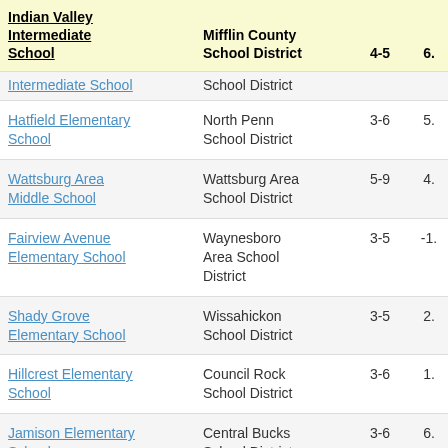| School | District | 4-5 | 6. |
| --- | --- | --- | --- |
| Indian Valley Intermediate School | Mifflin County School District | 4-5 | 6. |
| Intermediate School (partial) | School District (partial) |  |  |
| Hatfield Elementary School | North Penn School District | 3-6 | 5. |
| Wattsburg Area Middle School | Wattsburg Area School District | 5-9 | 4. |
| Fairview Avenue Elementary School | Waynesboro Area School District | 3-5 | -1. |
| Shady Grove Elementary School | Wissahickon School District | 3-5 | 2. |
| Hillcrest Elementary School | Council Rock School District | 3-6 | 1. |
| Jamison Elementary School | Central Bucks School District | 3-6 | 6. |
| Manheim Central (partial) | Manheim Central (partial) |  |  |